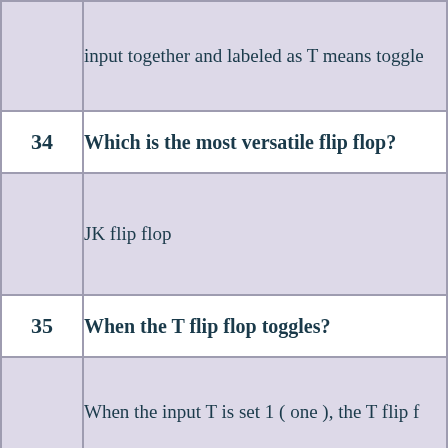| # | Content |
| --- | --- |
|  | input together and labeled as T means toggle |
| 34 | Which is the most versatile flip flop? |
|  | JK flip flop |
| 35 | When the T flip flop toggles? |
|  | When the input T is set 1 ( one ), the T flip f… |
| 36 | Describe the function of asynchronous inp… |
|  | diff… |